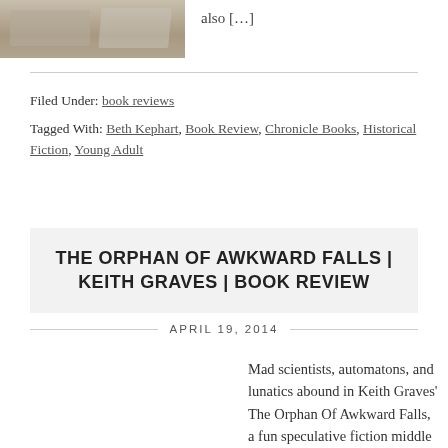[Figure (photo): Partial view of a book cover or old worn item, sepia/tan tones]
also […]
Filed Under: book reviews
Tagged With: Beth Kephart, Book Review, Chronicle Books, Historical Fiction, Young Adult
THE ORPHAN OF AWKWARD FALLS | KEITH GRAVES | BOOK REVIEW
APRIL 19, 2014
Mad scientists, automatons, and lunatics abound in Keith Graves' The Orphan Of Awkward Falls, a fun speculative fiction middle grade book. I